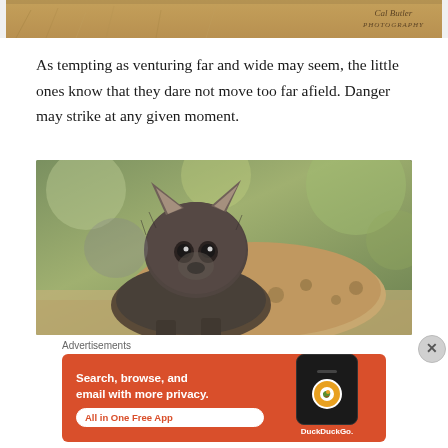[Figure (photo): Top strip of a nature/wildlife photo showing dry grass savanna background with a watermark reading 'Cal Butler photography']
As tempting as venturing far and wide may seem, the little ones know that they dare not move too far afield. Danger may strike at any given moment.
[Figure (photo): Close-up photo of a young spotted hyena pup looking directly at the camera, with another hyena visible behind it, set against a blurred grass background]
Advertisements
[Figure (infographic): DuckDuckGo advertisement banner with orange-red background. Text reads: Search, browse, and email with more privacy. All in One Free App. Shows a phone mockup with DuckDuckGo logo.]